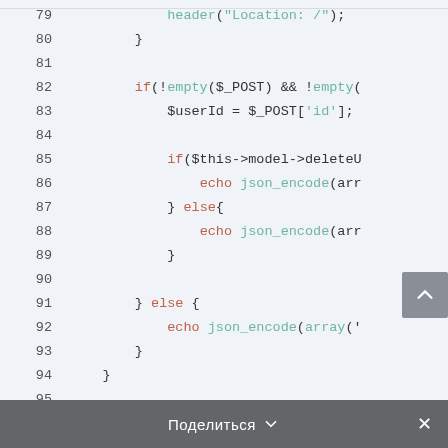[Figure (screenshot): PHP source code viewer showing lines 79-97 with syntax highlighting. Line 79: header("Location: /");, Line 80: }, Line 81: empty, Line 82: if(!empty($_POST) && !empty(, Line 83: $userId = $_POST['id'];, Line 84: empty, Line 85: if($this->model->deleteU, Line 86: echo json_encode(arr, Line 87: } else{, Line 88: echo json_encode(arr, Line 89: }, Line 90: empty, Line 91: } else {, Line 92: echo json_encode(array(', Line 93: }, Line 94: }, Line 95: empty, Line 96: (footer: Поделиться button), Line 97: }]